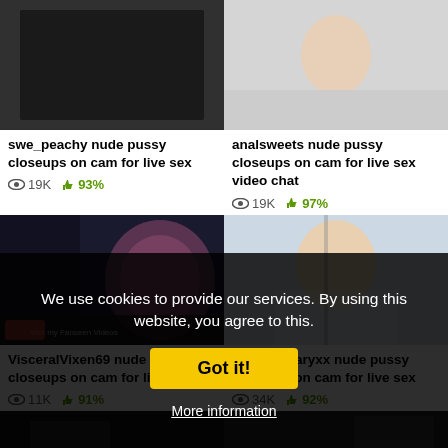[Figure (photo): Thumbnail image top-left, dark colored]
[Figure (photo): Thumbnail image top-right, light colored]
swe_peachy nude pussy closeups on cam for live sex
19K  93%
analsweets nude pussy closeups on cam for live sex video chat
19K  97%
[Figure (photo): Thumbnail image middle-left, anime/gaming themed]
[Figure (photo): Thumbnail image middle-right, person with glasses]
VisceralVixen69 nude pussy closeups on cam for live sex
11K  91%
cutiepiemaryxx nude pussy closeups on cam for live sex
34K  92%
[Figure (photo): Thumbnail image bottom-left, dark]
[Figure (photo): Thumbnail image bottom-right, dark]
MagicaLady nude pussy
DesDoes nude pussy closeups
We use cookies to provide our services. By using this website, you agree to this.
Got it!
More information